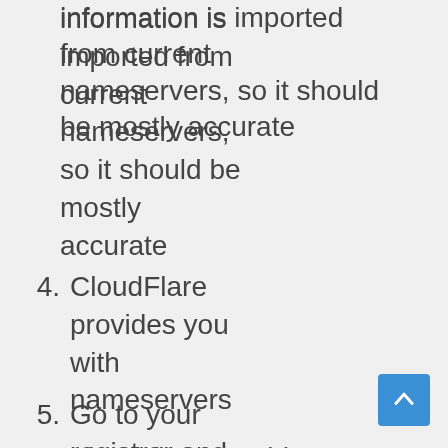(continuation) this information is imported from current nameservers, so it should be mostly accurate
4. CloudFlare provides you with nameservers
5. Go to your registrar and replace your nameservers with the nameservers